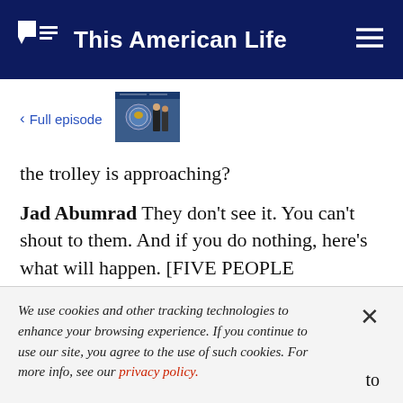This American Life
< Full episode
[Figure (photo): Thumbnail image of two people in front of a government seal/banner]
the trolley is approaching?
Jad Abumrad They don't see it. You can't shout to them. And if you do nothing, here's what will happen. [FIVE PEOPLE SCREAMING AS A
We use cookies and other tracking technologies to enhance your browsing experience. If you continue to use our site, you agree to the use of such cookies. For more info, see our privacy policy.